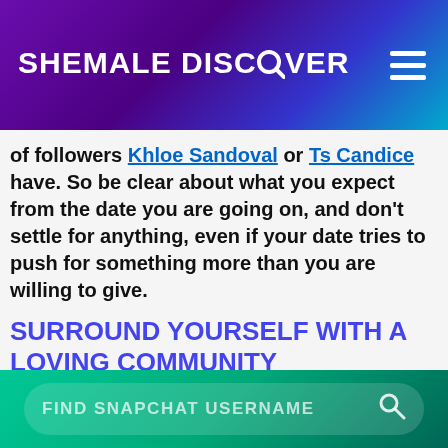SHEMALE DISCOVER
of followers Khloe Sandoval or Ts Candice have. So be clear about what you expect from the date you are going on, and don't settle for anything, even if your date tries to push for something more than you are willing to give.
SURROUND YOURSELF WITH A LOVING COMMUNITY
As we have mentioned in the first paragraph, you might want to look around you to see who is there waiting to be seen by you. There is a good chance that you can find your soulmate
FIND SNAPCHAT USERNAME